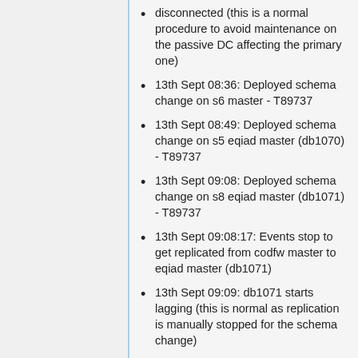disconnected (this is a normal procedure to avoid maintenance on the passive DC affecting the primary one)
13th Sept 08:36: Deployed schema change on s6 master - T89737
13th Sept 08:49: Deployed schema change on s5 eqiad master (db1070) - T89737
13th Sept 09:08: Deployed schema change on s8 eqiad master (db1071) - T89737
13th Sept 09:08:17: Events stop to get replicated from codfw master to eqiad master (db1071)
13th Sept 09:09: db1071 starts lagging (this is normal as replication is manually stopped for the schema change)
13th Sept 09:44: Enable GTID on